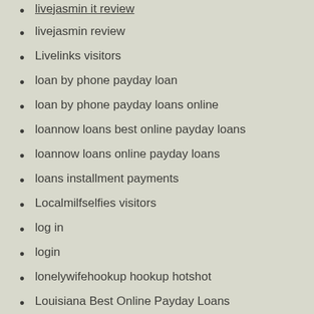livejasmin review
Livelinks visitors
loan by phone payday loan
loan by phone payday loans online
loannow loans best online payday loans
loannow loans online payday loans
loans installment payments
Localmilfselfies visitors
log in
login
lonelywifehookup hookup hotshot
Louisiana Best Online Payday Loans
LoveAgain visitors
loveaholics visitors